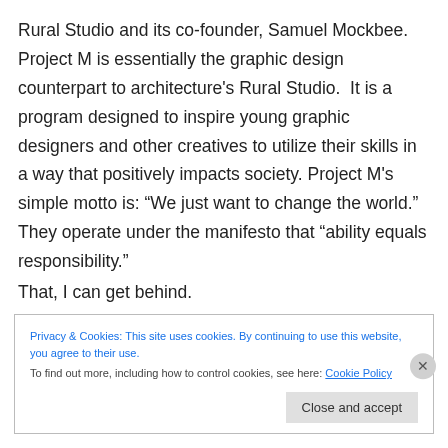Rural Studio and its co-founder, Samuel Mockbee.  Project M is essentially the graphic design counterpart to architecture's Rural Studio.  It is a program designed to inspire young graphic designers and other creatives to utilize their skills in a way that positively impacts society. Project M's simple motto is: “We just want to change the world.”  They operate under the manifesto that “ability equals responsibility.”
That, I can get behind.
Privacy & Cookies: This site uses cookies. By continuing to use this website, you agree to their use.
To find out more, including how to control cookies, see here: Cookie Policy